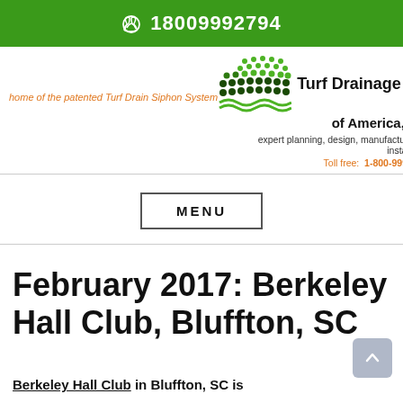18009992794
[Figure (logo): Turf Drainage Co. of America, Inc. logo with dots pattern]
home of the patented Turf Drain Siphon System
expert planning, design, manufacture and installation
Toll free: 1-800-999-2794
MENU
February 2017: Berkeley Hall Club, Bluffton, SC
Berkeley Hall Club in Bluffton, SC is...